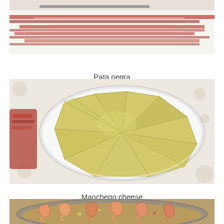[Figure (photo): Top portion of a plate of pata negra (Iberian ham) slices on a white surface, partially cropped at top]
Pata negra
[Figure (photo): A round white plate with sliced Manchego cheese wedges arranged in a fan/circular pattern, with cured meat visible in background]
Manchego cheese
[Figure (photo): A pan of cooked shrimp/prawns in oil with garlic, partially cropped at bottom]